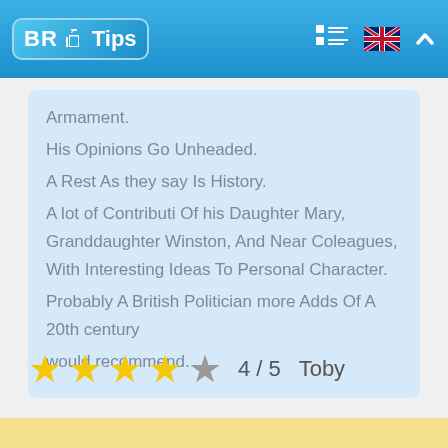BR Tips
Armament.
His Opinions Go Unheaded.
A Rest As they say Is History.
A lot of Contributi Of his Daughter Mary, Granddaughter Winston, And Near Coleagues, With Interesting Ideas To Personal Character. Probably A British Politician more Adds Of A 20th century
would recommend.
★★★★☆ 4 / 5  Toby